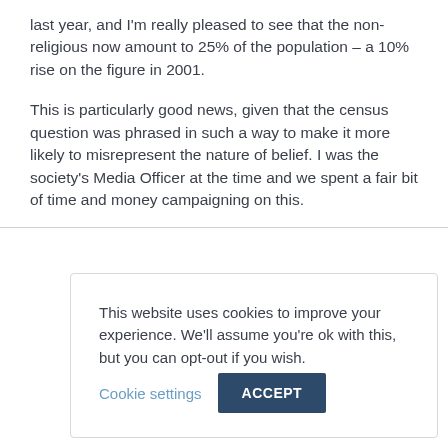last year, and I'm really pleased to see that the non-religious now amount to 25% of the population – a 10% rise on the figure in 2001.
This is particularly good news, given that the census question was phrased in such a way to make it more likely to misrepresent the nature of belief. I was the society's Media Officer at the time and we spent a fair bit of time and money campaigning on this.
This website uses cookies to improve your experience. We'll assume you're ok with this, but you can opt-out if you wish. Cookie settings ACCEPT